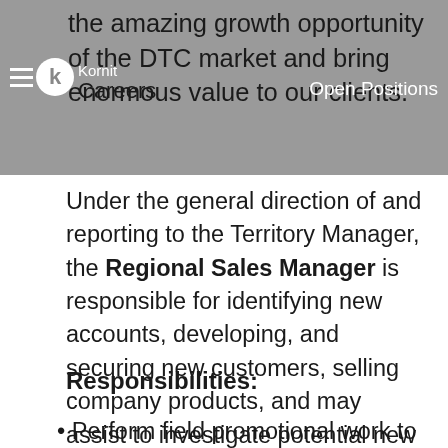the amazing growth opportunity of the DTC market and bring enormous value to our clients.
Under the general direction of and reporting to the Territory Manager, the Regional Sales Manager is responsible for identifying new accounts, developing, and securing new customers, selling company products, and may assist to investigate potential new product uses or applications.
Responsibilities:
Perform field promotional work to sell and secure new business, to include